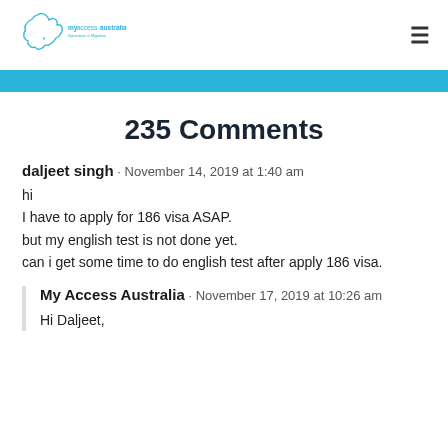my access australia - Specialists in Migration
235 Comments
daljeet singh · November 14, 2019 at 1:40 am
hi
I have to apply for 186 visa ASAP.
but my english test is not done yet.
can i get some time to do english test after apply 186 visa.
My Access Australia · November 17, 2019 at 10:26 am
Hi Daljeet,